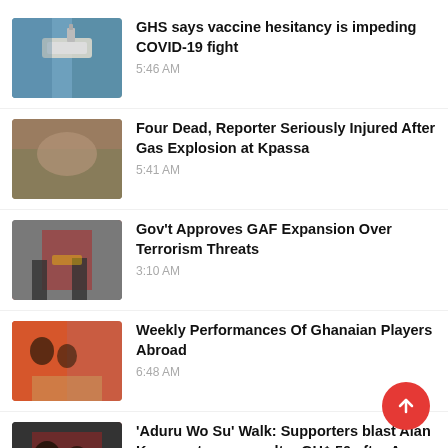[Figure (photo): Vaccine vial being held with gloved hand]
GHS says vaccine hesitancy is impeding COVID-19 fight
5:46 AM
[Figure (photo): Injured person at gas explosion scene]
Four Dead, Reporter Seriously Injured After Gas Explosion at Kpassa
5:41 AM
[Figure (photo): Military or government official ceremony]
Gov't Approves GAF Expansion Over Terrorism Threats
3:10 AM
[Figure (photo): Ghanaian football players on field]
Weekly Performances Of Ghanaian Players Abroad
6:48 AM
[Figure (photo): People at Aduru Wo Su walk event]
'Aduru Wo Su' Walk: Supporters blast Alan Kyerematen over paltry GH¢ 50 after Accra-Kumasi trip
5:35 AM